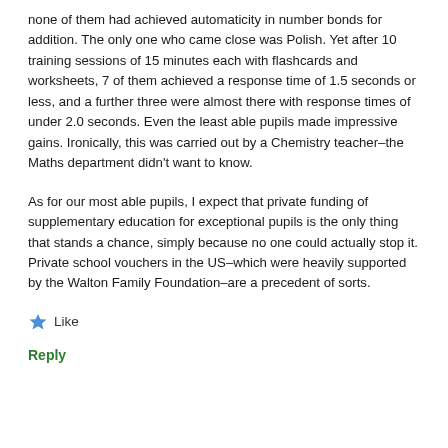none of them had achieved automaticity in number bonds for addition. The only one who came close was Polish. Yet after 10 training sessions of 15 minutes each with flashcards and worksheets, 7 of them achieved a response time of 1.5 seconds or less, and a further three were almost there with response times of under 2.0 seconds. Even the least able pupils made impressive gains. Ironically, this was carried out by a Chemistry teacher–the Maths department didn't want to know.
As for our most able pupils, I expect that private funding of supplementary education for exceptional pupils is the only thing that stands a chance, simply because no one could actually stop it. Private school vouchers in the US–which were heavily supported by the Walton Family Foundation–are a precedent of sorts.
★ Like
Reply